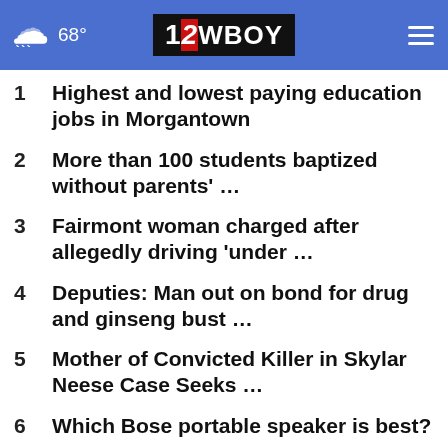68° | 12WBOY
1 Highest and lowest paying education jobs in Morgantown
2 More than 100 students baptized without parents' …
3 Fairmont woman charged after allegedly driving 'under …
4 Deputies: Man out on bond for drug and ginseng bust …
5 Mother of Convicted Killer in Skylar Neese Case Seeks …
6 Which Bose portable speaker is best?
7 Families encouraged to attend safety